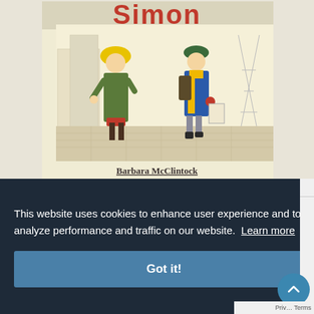[Figure (illustration): Book cover illustration showing two children on a cobblestone street. A girl in a green coat and yellow hat, and a boy in a blue jacket with yellow scarf carrying a backpack, with a city background. Title text 'Simon' visible at top. Author name 'Barbara McClintock' at bottom.]
This website uses cookies to enhance user experience and to analyze performance and traffic on our website.  Learn more
Got it!